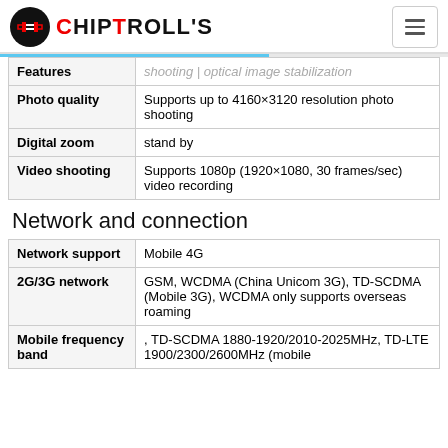CHIPTROLL'S
| Feature | Value |
| --- | --- |
| Features | shooting | optical image stabilization |
| Photo quality | Supports up to 4160×3120 resolution photo shooting |
| Digital zoom | stand by |
| Video shooting | Supports 1080p (1920×1080, 30 frames/sec) video recording |
Network and connection
| Feature | Value |
| --- | --- |
| Network support | Mobile 4G |
| 2G/3G network | GSM, WCDMA (China Unicom 3G), TD-SCDMA (Mobile 3G), WCDMA only supports overseas roaming |
| Mobile frequency band | , TD-SCDMA 1880-1920/2010-2025MHz, TD-LTE 1900/2300/2600MHz (mobile |